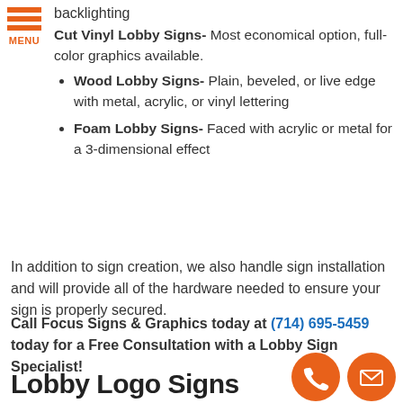[Figure (other): Orange hamburger menu icon with three horizontal bars and MENU text below]
backlighting
Cut Vinyl Lobby Signs- Most economical option, full-color graphics available.
Wood Lobby Signs- Plain, beveled, or live edge with metal, acrylic, or vinyl lettering
Foam Lobby Signs- Faced with acrylic or metal for a 3-dimensional effect
In addition to sign creation, we also handle sign installation and will provide all of the hardware needed to ensure your sign is properly secured.
Call Focus Signs & Graphics today at (714) 695-5459 today for a Free Consultation with a Lobby Sign Specialist!
Lobby Logo Signs
[Figure (illustration): Two orange circular icons: a phone handset icon and an envelope/mail icon]